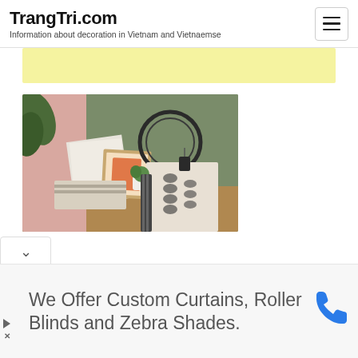TrangTri.com
Information about decoration in Vietnam and Vietnaemse
[Figure (photo): Yellow banner (advertisement or content block) partially visible at top]
[Figure (photo): Photo of decorative home items: fabric samples, framed artwork, small plant, black wire accessory, patterned textile with moth/butterfly print, arranged on a wooden surface against a green wall]
We Offer Custom Curtains, Roller Blinds and Zebra Shades.